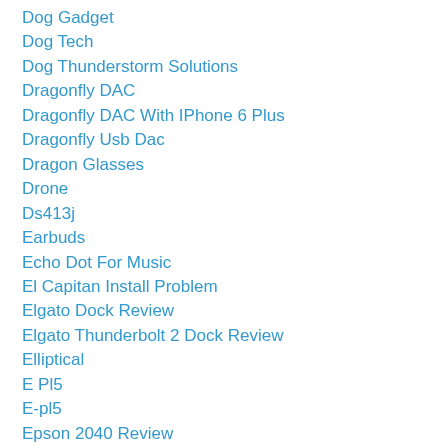Dog Gadget
Dog Tech
Dog Thunderstorm Solutions
Dragonfly DAC
Dragonfly DAC With IPhone 6 Plus
Dragonfly Usb Dac
Dragon Glasses
Drone
Ds413j
Earbuds
Echo Dot For Music
El Capitan Install Problem
Elgato Dock Review
Elgato Thunderbolt 2 Dock Review
Elliptical
E Pl5
E-pl5
Epson 2040 Review
Ergotron MX Mount
Extending Wifi
F4 Preference...